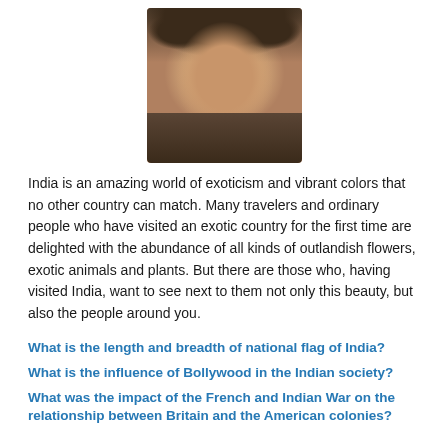[Figure (photo): Headshot photo of a smiling man with dark curly hair and glasses]
India is an amazing world of exoticism and vibrant colors that no other country can match. Many travelers and ordinary people who have visited an exotic country for the first time are delighted with the abundance of all kinds of outlandish flowers, exotic animals and plants. But there are those who, having visited India, want to see next to them not only this beauty, but also the people around you.
What is the length and breadth of national flag of India?
What is the influence of Bollywood in the Indian society?
What was the impact of the French and Indian War on the relationship between Britain and the American colonies?